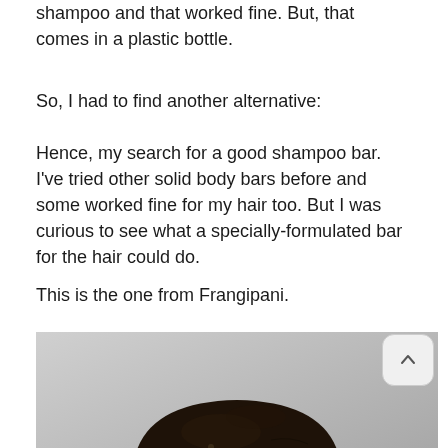shampoo and that worked fine. But, that comes in a plastic bottle.
So, I had to find another alternative:
Hence, my search for a good shampoo bar. I've tried other solid body bars before and some worked fine for my hair too. But I was curious to see what a specially-formulated bar for the hair could do.
This is the one from Frangipani.
[Figure (photo): A dark brown/black solid shampoo bar photographed against a light grey background. The bar has a rounded dome shape with a rough, textured surface.]